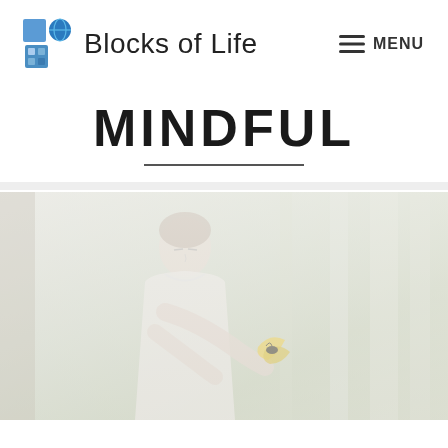Blocks of Life   MENU
MINDFUL
[Figure (photo): A woman in a white shirt with eyes closed, holding a yellow leaf/butterfly in an outdoor nature setting. The photo is heavily washed out/faded with light overlays giving a peaceful, meditative appearance.]